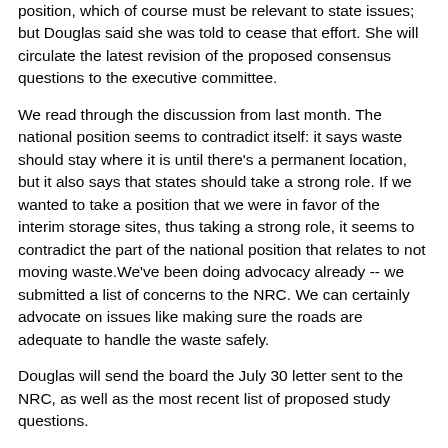position, which of course must be relevant to state issues; but Douglas said she was told to cease that effort. She will circulate the latest revision of the proposed consensus questions to the executive committee.
We read through the discussion from last month. The national position seems to contradict itself: it says waste should stay where it is until there's a permanent location, but it also says that states should take a strong role. If we wanted to take a position that we were in favor of the interim storage sites, thus taking a strong role, it seems to contradict the part of the national position that relates to not moving waste.We've been doing advocacy already -- we submitted a list of concerns to the NRC. We can certainly advocate on issues like making sure the roads are adequate to handle the waste safely.
Douglas will send the board the July 30 letter sent to the NRC, as well as the most recent list of proposed study questions.
LOCAL LEAGUE REPORTS
Los Alamos: